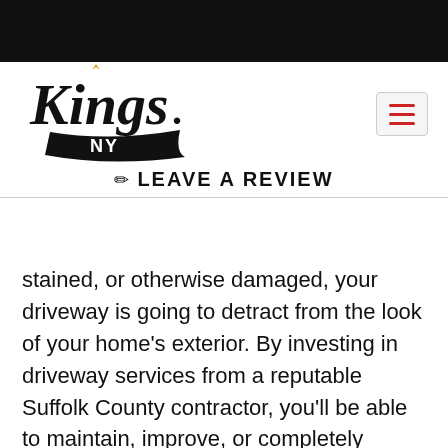[Figure (logo): Kings NY logo in cursive black script with gold crown accent and NY text on a black banner]
✏ LEAVE A REVIEW
stained, or otherwise damaged, your driveway is going to detract from the look of your home's exterior. By investing in driveway services from a reputable Suffolk County contractor, you'll be able to maintain, improve, or completely update the look of your home's curb appeal.
Greater Functionality